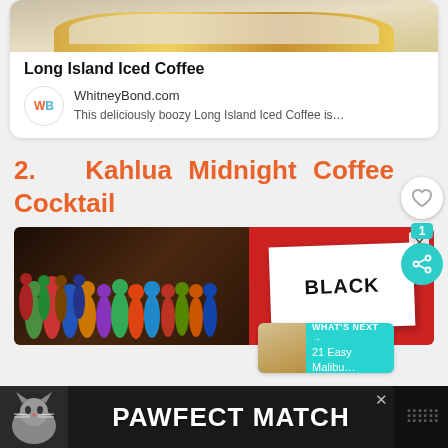[Figure (screenshot): Recipe card for Long Island Iced Coffee from WhitneyBond.com showing a gold-rimmed white plate image at top]
Long Island Iced Coffee
WhitneyBond.com
This deliciously boozy Long Island Iced Coffee is…
2.   Kahlua Midnight Coffee Cocktail
[Figure (screenshot): Advertisement image showing crowd of colorful illustrated people on left and a white sign reading BLACK on red background on right, with X close button]
[Figure (screenshot): WHAT'S NEXT banner showing 21 Easy Malibu... with a food image thumbnail]
[Figure (advertisement): Bottom banner advertisement reading PAWFECT MATCH with cat image on left and close button]